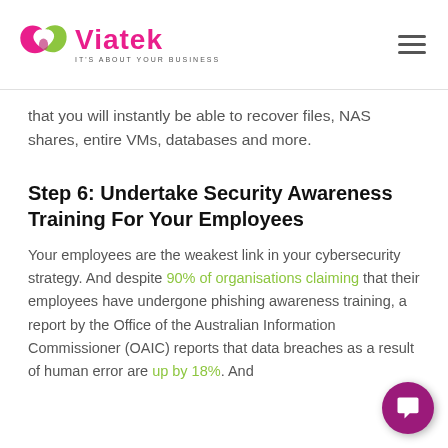Viatek — IT'S ABOUT YOUR BUSINESS
that you will instantly be able to recover files, NAS shares, entire VMs, databases and more.
Step 6: Undertake Security Awareness Training For Your Employees
Your employees are the weakest link in your cybersecurity strategy. And despite 90% of organisations claiming that their employees have undergone phishing awareness training, a report by the Office of the Australian Information Commissioner (OAIC) reports that data breaches as a result of human error are up by 18%. And